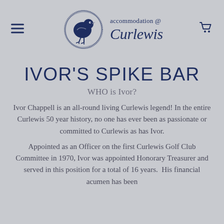[Figure (logo): Accommodation @ Curlewis logo with a circular hand-drawn bird illustration and the text 'accommodation @ Curlewis' in navy blue]
IVOR'S SPIKE BAR
WHO is Ivor?
Ivor Chappell is an all-round living Curlewis legend! In the entire Curlewis 50 year history, no one has ever been as passionate or committed to Curlewis as has Ivor.
Appointed as an Officer on the first Curlewis Golf Club Committee in 1970, Ivor was appointed Honorary Treasurer and served in this position for a total of 16 years.  His financial acumen has been